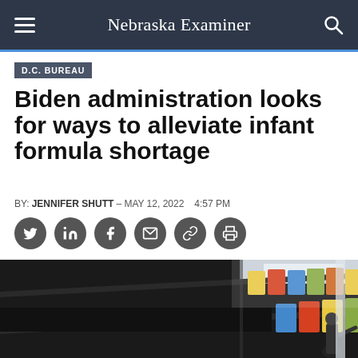Nebraska Examiner
D.C. BUREAU
Biden administration looks for ways to alleviate infant formula shortage
BY: JENNIFER SHUTT – MAY 12, 2022   4:57 PM
[Figure (photo): Grocery store shelves partially empty with some infant formula cans remaining on upper shelves, shopper visible in background]